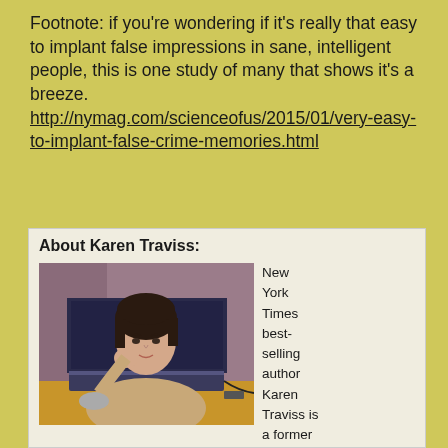Footnote: if you're wondering if it's really that easy to implant false impressions in sane, intelligent people, this is one study of many that shows it's a breeze. http://nymag.com/scienceofus/2015/01/very-easy-to-implant-false-crime-memories.html
About Karen Traviss:
[Figure (photo): Photo of Karen Traviss sitting at a desk with an open laptop, resting her chin on her hand, looking at the camera. Background shows a mauve/purple cubicle partition.]
New York Times best-selling author Karen Traviss is a former defence correspondent and has also spent way too much of her